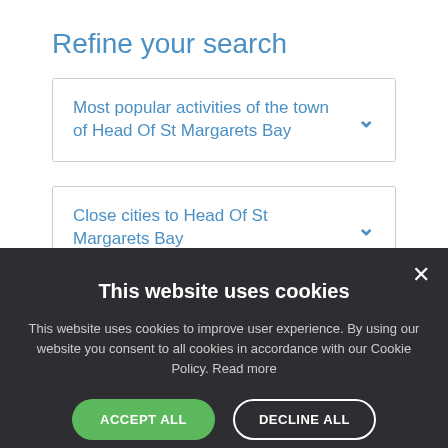Refine your search
Most popular activities of the town of Head Of St Margarets Bay
Close cities to Head Of St Margarets Bay
This website uses cookies
This website uses cookies to improve user experience. By using our website you consent to all cookies in accordance with our Cookie Policy. Read more
ACCEPT ALL
DECLINE ALL
SHOW DETAILS
POWERED BY COOKIE-SCRIPT